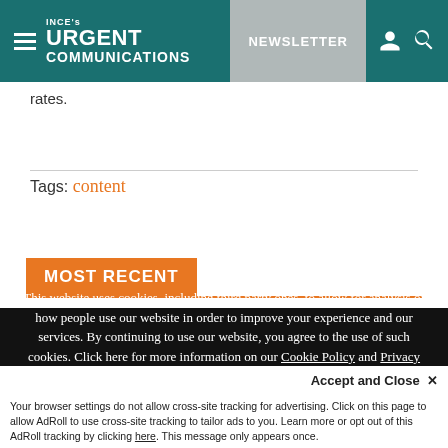INCE's URGENT COMMUNICATIONS | NEWSLETTER
rates.
Tags: content
MOST RECENT
This website uses cookies, including third party ones, to allow for analysis of how people use our website in order to improve your experience and our services. By continuing to use our website, you agree to the use of such cookies. Click here for more information on our Cookie Policy and Privacy Policy
Accept and Close ✕
Your browser settings do not allow cross-site tracking for advertising. Click on this page to allow AdRoll to use cross-site tracking to tailor ads to you. Learn more or opt out of this AdRoll tracking by clicking here. This message only appears once.